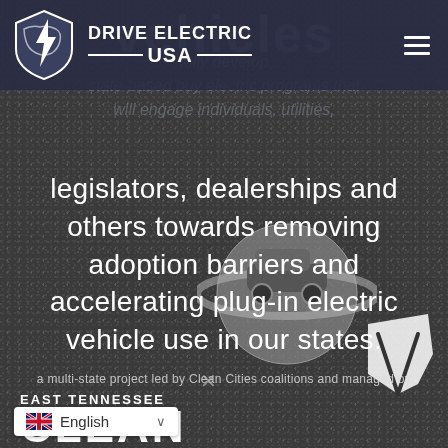[Figure (logo): Drive Electric USA logo with shield/lightning bolt icon and hamburger menu]
vehicles
fully develop state-based buy electric programs that will engage individuals, utilities,
legislators, dealerships and others towards removing adoption barriers and accelerating plug-in electric vehicle use in our states.
a multi-state project led by Clean Cities coalitions and managed by
[Figure (logo): East Tennessee Clean Fuels logo with car/planet graphic and state map]
English